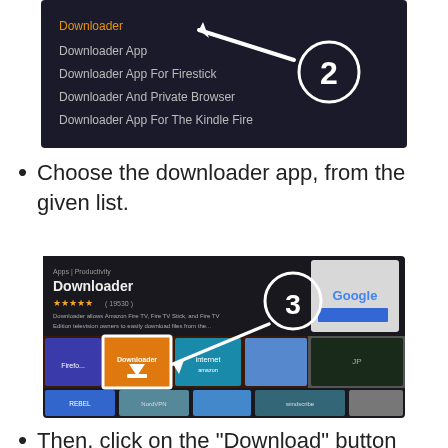[Figure (screenshot): Screenshot of a search results list on a dark background showing: Downloader (highlighted in orange), Downloader App, Downloader App For Firestick, Downloader And Private Browser, Downloader App For The Kindle Fire. A white circle with number 2 and an arrow pointing to 'Downloader' are overlaid.]
Choose the downloader app, from the given list.
[Figure (screenshot): Screenshot of Amazon Fire TV app store showing the Downloader app page. Apps > Productivity breadcrumb, Downloader title, star rating (19530 reviews), description text. Below are app tiles: Firefox, Downloader (orange, selected with white border), internet, a file manager, and an IP app. Second row shows Rebel, NordVPN, an upload app, Windscribe, and a camera app. A white circle with number 3 and arrow pointing to Downloader tile are overlaid. A Google search box is visible top right.]
Then, click on the "Download" button